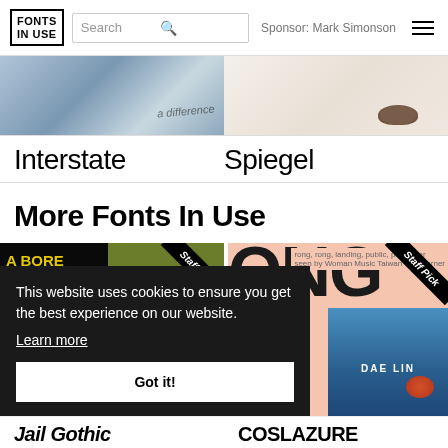FONTS IN USE | Search | Sponsor: Mark Simonson
[Figure (photo): Two images: left shows a book/design with text 'a difference', right shows a brown/tan ceramic or wooden object on white background]
Interstate
Spiegel
More Fonts In Use
[Figure (photo): Left grid item: Black and olive green book cover with yellow text 'A BORE IS A FELLOW WHO OPENS HIS MOUTH' and 'NOTHING EXCEEDS LIKE EXCESS' with Staff Pick ribbon. Right grid item: Pink magazine cover with large black typography 'ONG X' and a photo of a person with Staff Pick ribbon, also shows 'DAE LIN' text on blue overlay]
This website uses cookies to ensure you get the best experience on our website.
Learn more
Got it!
Jail Gothic
COSLAZURE